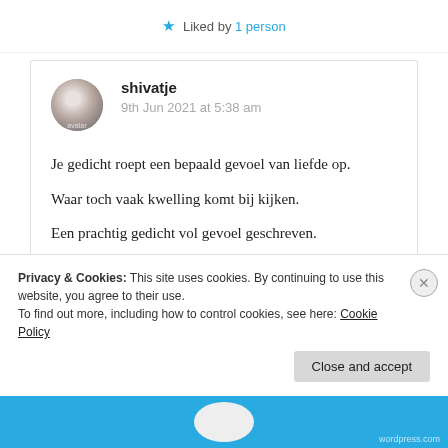Liked by 1 person
shivatje
9th Jun 2021 at 5:38 am

Je gedicht roept een bepaald gevoel van liefde op.

Waar toch vaak kwelling komt bij kijken.

Een prachtig gedicht vol gevoel geschreven.

Aum Shanthi
Privacy & Cookies: This site uses cookies. By continuing to use this website, you agree to their use.
To find out more, including how to control cookies, see here: Cookie Policy
Close and accept